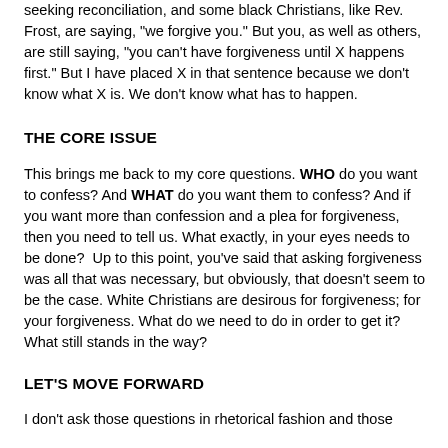seeking reconciliation, and some black Christians, like Rev. Frost, are saying, "we forgive you." But you, as well as others, are still saying, "you can't have forgiveness until X happens first." But I have placed X in that sentence because we don't know what X is. We don't know what has to happen.
THE CORE ISSUE
This brings me back to my core questions. WHO do you want to confess? And WHAT do you want them to confess? And if you want more than confession and a plea for forgiveness, then you need to tell us. What exactly, in your eyes needs to be done?  Up to this point, you've said that asking forgiveness was all that was necessary, but obviously, that doesn't seem to be the case. White Christians are desirous for forgiveness; for your forgiveness. What do we need to do in order to get it? What still stands in the way?
LET'S MOVE FORWARD
I don't ask those questions in rhetorical fashion and those